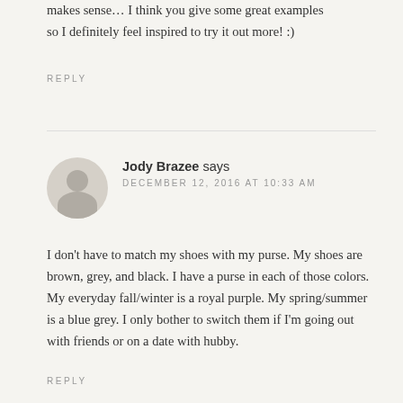makes sense… I think you give some great examples so I definitely feel inspired to try it out more! :)
REPLY
Jody Brazee says
DECEMBER 12, 2016 AT 10:33 AM
I don't have to match my shoes with my purse. My shoes are brown, grey, and black. I have a purse in each of those colors. My everyday fall/winter is a royal purple. My spring/summer is a blue grey. I only bother to switch them if I'm going out with friends or on a date with hubby.
REPLY